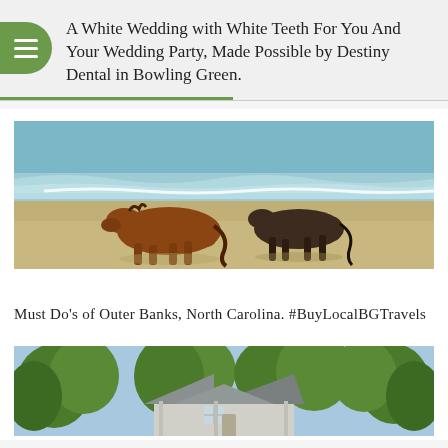A White Wedding with White Teeth For You And Your Wedding Party, Made Possible by Destiny Dental in Bowling Green.
[Figure (photo): Two horses, one brown and one dark brown/black, walking on a sandy beach near ocean waves]
Must Do's of Outer Banks, North Carolina. #BuyLocalBGTravels
[Figure (photo): A house with gray roofs surrounded by green trees, viewed from slightly above]